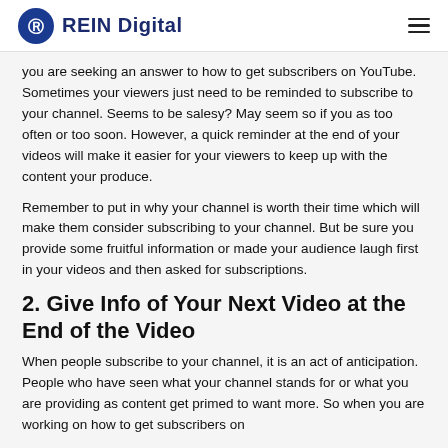REIN Digital
you are seeking an answer to how to get subscribers on YouTube. Sometimes your viewers just need to be reminded to subscribe to your channel. Seems to be salesy? May seem so if you as too often or too soon. However, a quick reminder at the end of your videos will make it easier for your viewers to keep up with the content your produce.
Remember to put in why your channel is worth their time which will make them consider subscribing to your channel. But be sure you provide some fruitful information or made your audience laugh first in your videos and then asked for subscriptions.
2. Give Info of Your Next Video at the End of the Video
When people subscribe to your channel, it is an act of anticipation. People who have seen what your channel stands for or what you are providing as content get primed to want more. So when you are working on how to get subscribers on